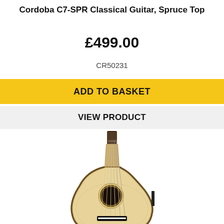Cordoba C7-SPR Classical Guitar, Spruce Top
£499.00
CR50231
ADD TO BASKET
VIEW PRODUCT
[Figure (photo): Front view of a Cordoba C7-SPR Classical Guitar with spruce top, showing the natural wood finish body, cutaway design, round sound hole with decorative rosette, black fretboard, nylon strings, and black bridge]